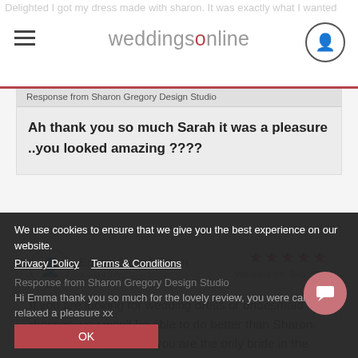weddingsonline
Delighted I got my dress made with sharon. It was exactly what I wanted
Response from Sharon Gregory Design Studio
Ah thank you so much Sarah it was a pleasure ..you looked amazing ????
Emma Clery O'Brien
Added 28th Sep 2017
★★★★★
Wedding 8th Sep 2017
If you are looking for wedding dress or bridesmaid dresses, you won't be able to do better than Sharon. Great service, feel like you are the only bride in the world when you walk into her shop!
Response from Sharon Gregory Design Studio
Hi Emma thank you so much for the lovely review, you were calm and relaxed a pleasure xx
We use cookies to ensure that we give you the best experience on our website.
Privacy Policy   Terms & Conditions
OK